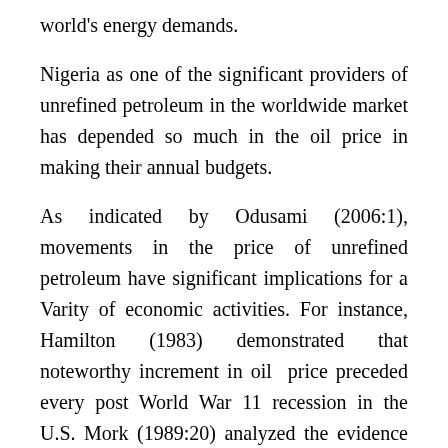world's energy demands.
Nigeria as one of the significant providers of unrefined petroleum in the worldwide market has depended so much in the oil price in making their annual budgets.
As indicated by Odusami (2006:1), movements in the price of unrefined petroleum have significant implications for a Varity of economic activities. For instance, Hamilton (1983) demonstrated that noteworthy increment in oil price preceded every post World War 11 recession in the U.S. Mork (1989:20) analyzed the evidence of asymmetric response of output to oil price increase and decrease and find evidence of negative correlation between